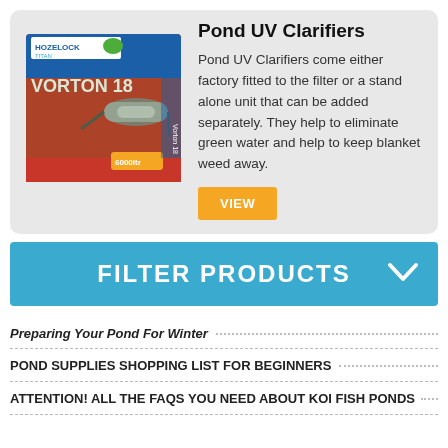[Figure (photo): Product box image of Hozelock Vorton 18 Pond UV Clarifier]
Pond UV Clarifiers
Pond UV Clarifiers come either factory fitted to the filter or a stand alone unit that can be added separately. They help to eliminate green water and help to keep blanket weed away.
VIEW
FILTER PRODUCTS
Preparing Your Pond For Winter
POND SUPPLIES SHOPPING LIST FOR BEGINNERS
ATTENTION! ALL THE FAQS YOU NEED ABOUT KOI FISH PONDS